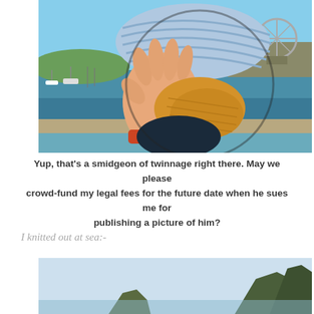[Figure (photo): A hand holding yellow/mustard knitting in progress, with a striped blue bucket hat visible behind, harbor with boats and a Ferris wheel in the background on a sunny day.]
Yup, that's a smidgeon of twinnage right there. May we please crowd-fund my legal fees for the future date when he sues me for publishing a picture of him?
I knitted out at sea:-
[Figure (photo): Coastal seascape with rocky cliffs and green hills under a pale blue sky.]